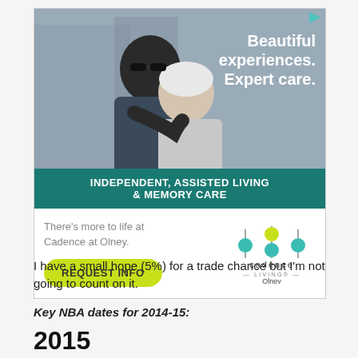[Figure (illustration): Advertisement for Cadence Living at Olney. Shows an elderly couple hugging outdoors. Text overlay reads 'Beautiful experiences. Expert care.' Teal banner reads 'INDEPENDENT, ASSISTED LIVING & MEMORY CARE'. Bottom section has tagline 'There's more to life at Cadence at Olney.', a yellow 'REQUEST INFO' button, and the Cadence Living Olney logo.]
I have a small hope (5%) for a trade chance but I'm not going to count on it.
Key NBA dates for 2014-15:
2015